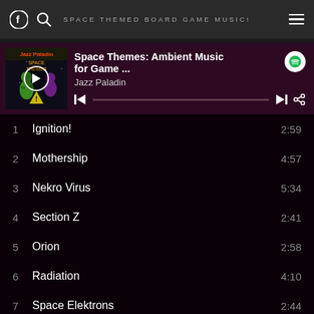SPACE THEMED BOARD GAME MUSIC!
[Figure (screenshot): Music player showing album 'Space Themes: Ambient Music for Game...' by Jazz Paladin with playback controls and progress bar, album art on left]
1  Ignition!  2:59
2  Mothership  4:57
3  Nekro Virus  5:34
4  Section Z  2:41
5  Orion  2:58
6  Radiation  4:10
7  Space Elektrons  2:44
8  The Grand Space Opera  3:00
9  Space Streets  3:49
10  Gl...  3:59